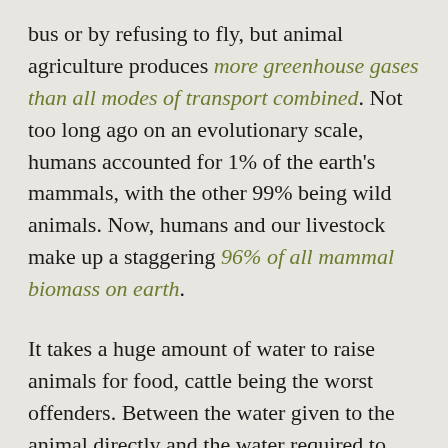bus or by refusing to fly, but animal agriculture produces more greenhouse gases than all modes of transport combined. Not too long ago on an evolutionary scale, humans accounted for 1% of the earth's mammals, with the other 99% being wild animals. Now, humans and our livestock make up a staggering 96% of all mammal biomass on earth. It takes a huge amount of water to raise animals for food, cattle being the worst offenders. Between the water given to the animal directly and the water required to grow food for it, it takes roughly 7,000 litres of water to raise one pound of beef. That means that by eating a portion of beef about the same weight as 3 tomatoes you waste as much water as you would by leaving your shower on for about 15 hours. If you were to eat the tomatoes instead, you would use...